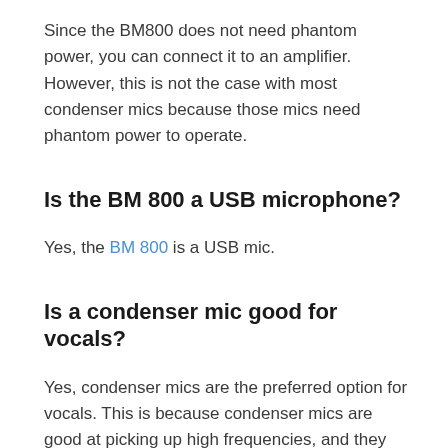Since the BM800 does not need phantom power, you can connect it to an amplifier. However, this is not the case with most condenser mics because those mics need phantom power to operate.
Is the BM 800 a USB microphone?
Yes, the BM 800 is a USB mic.
Is a condenser mic good for vocals?
Yes, condenser mics are the preferred option for vocals. This is because condenser mics are good at picking up high frequencies, and they are very sensitive to any kind of sound.
Condenser mics work well in recording studio setup, specifically because of their high sensitivity. They can pick